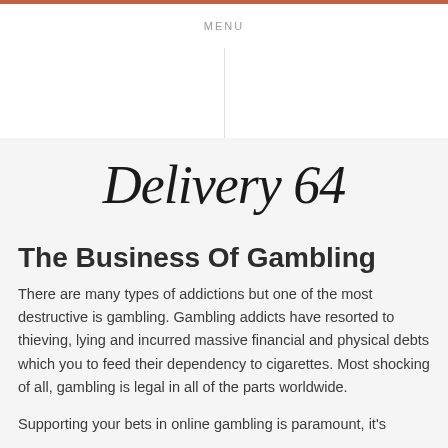MENU
Delivery 64
The Business Of Gambling
There are many types of addictions but one of the most destructive is gambling. Gambling addicts have resorted to thieving, lying and incurred massive financial and physical debts which you to feed their dependency to cigarettes. Most shocking of all, gambling is legal in all of the parts worldwide.
Supporting your bets in online gambling is paramount, it's